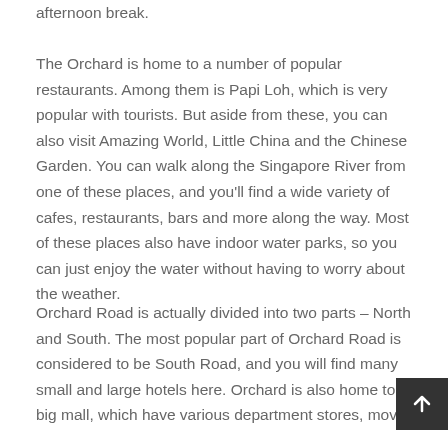afternoon break. The Orchard is home to a number of popular restaurants. Among them is Papi Loh, which is very popular with tourists. But aside from these, you can also visit Amazing World, Little China and the Chinese Garden. You can walk along the Singapore River from one of these places, and you'll find a wide variety of cafes, restaurants, bars and more along the way. Most of these places also have indoor water parks, so you can just enjoy the water without having to worry about the weather.
Orchard Road is actually divided into two parts – North and South. The most popular part of Orchard Road is considered to be South Road, and you will find many small and large hotels here. Orchard is also home to a big mall, which have various department stores, movie…